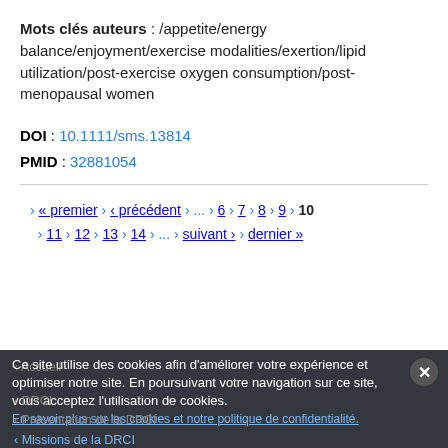Mots clés auteurs : /appetite/energy balance/enjoyment/exercise modalities/exertion/lipid utilization/post-exercise oxygen consumption/post-menopausal women
DOI : 10.1111/sms.13814
PMID : 32881054
« premier ‹ précédent ... 6 7 8 9 10 11 12 13 14 ... suivant › dernier »
Ce site utilise des cookies afin d'améliorer votre expérience et optimiser notre site. En poursuivant votre navigation sur ce site, vous acceptez l'utilisation de cookies.
En savoir plus sur les cookies et notre politique de confidentialité.
Accueil
DRCI
Présentation de la DRCI
Missions de la DRCI
Organisation et gouvernance
En savoir plus sur les Nationals
Les acteurs de la Recherche clinique
Objectifs et composantes de la Recherche